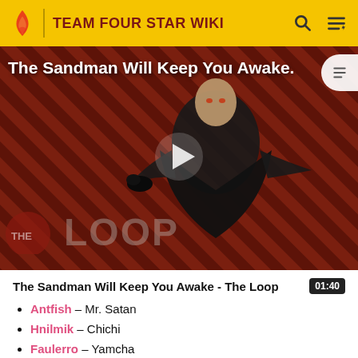TEAM FOUR STAR WIKI
[Figure (screenshot): Video thumbnail for 'The Sandman Will Keep You Awake - The Loop' showing a dark figure in a black cape against a red and black diagonal striped background, with 'THE LOOP' watermark text and a play button overlay.]
The Sandman Will Keep You Awake - The Loop  01:40
Antfish – Mr. Satan
Hnilmik – Chichi
Faulerro – Yamcha